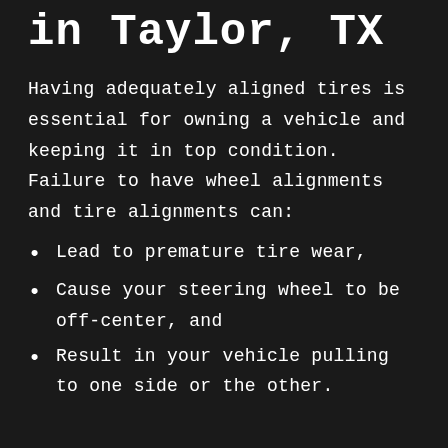in Taylor, TX
Having adequately aligned tires is essential for owning a vehicle and keeping it in top condition. Failure to have wheel alignments and tire alignments can:
Lead to premature tire wear,
Cause your steering wheel to be off-center, and
Result in your vehicle pulling to one side or the other.